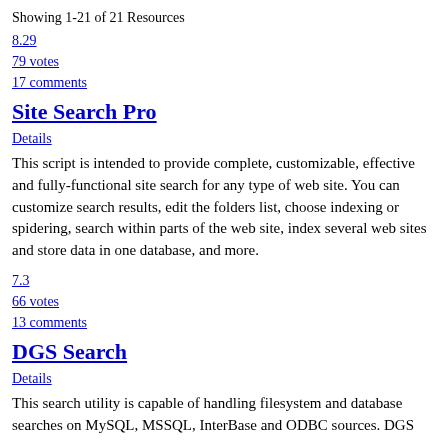Showing 1-21 of 21 Resources
8.29
79 votes
17 comments
Site Search Pro
Details
This script is intended to provide complete, customizable, effective and fully-functional site search for any type of web site. You can customize search results, edit the folders list, choose indexing or spidering, search within parts of the web site, index several web sites and store data in one database, and more.
7.3
66 votes
13 comments
DGS Search
Details
This search utility is capable of handling filesystem and database searches on MySQL, MSSQL, InterBase and ODBC sources. DGS